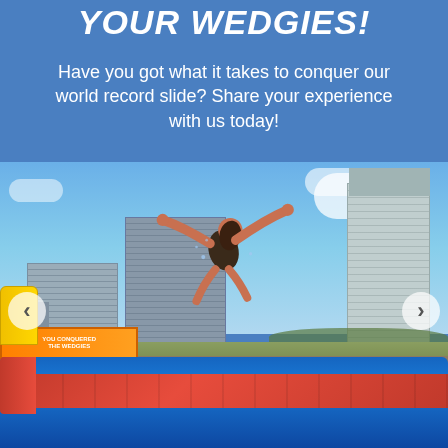YOUR WEDGIES!
Have you got what it takes to conquer our world record slide? Share your experience with us today!
[Figure (photo): A person flying through the air off a large inflatable water slide, arms spread wide, with city buildings in the background under a blue sky. The inflatable slide is blue and red. Navigation arrows are visible on left and right sides of the image.]